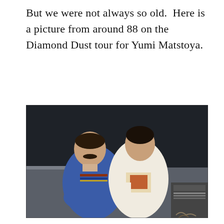But we were not always so old.  Here is a picture from around 88 on the Diamond Dust tour for Yumi Matstoya.
[Figure (photo): A vintage color photograph of two men posing together. The man on the left wears a blue sweater with striped detail and has a mustache; the man on the right wears a white t-shirt with a graphic print. They appear to be backstage or in a studio setting with dark walls and some equipment visible in the lower right corner. Photo appears to be from around 1988.]